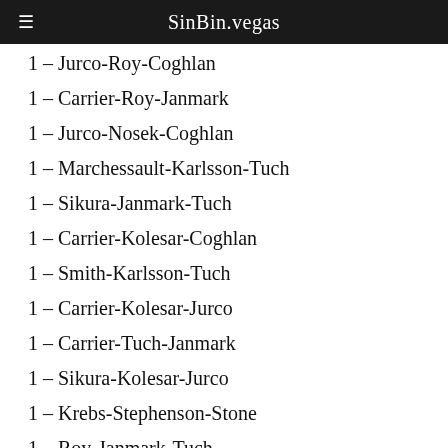SinBin.vegas
1 – Jurco-Roy-Coghlan
1 – Carrier-Roy-Janmark
1 – Jurco-Nosek-Coghlan
1 – Marchessault-Karlsson-Tuch
1 – Sikura-Janmark-Tuch
1 – Carrier-Kolesar-Coghlan
1 – Smith-Karlsson-Tuch
1 – Carrier-Kolesar-Jurco
1 – Carrier-Tuch-Janmark
1 – Sikura-Kolesar-Jurco
1 – Krebs-Stephenson-Stone
1 – Roy-Janmark-Tuch
1 – Sikura-Roy-Tuch